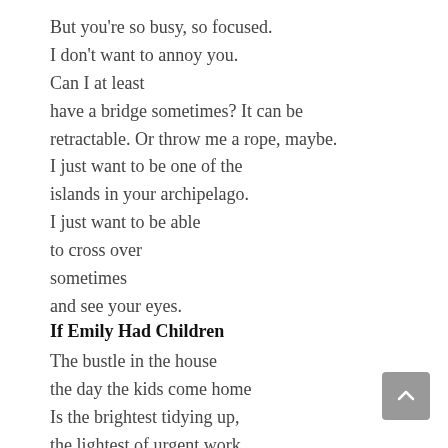But you're so busy, so focused.
I don't want to annoy you.
Can I at least
have a bridge sometimes? It can be
retractable. Or throw me a rope, maybe.
I just want to be one of the
islands in your archipelago.
I just want to be able
to cross over
sometimes
and see your eyes.
If Emily Had Children
The bustle in the house
the day the kids come home
Is the brightest tidying up,
the lightest of urgent work